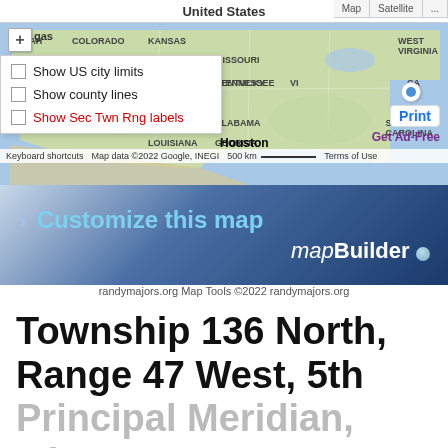[Figure (map): Screenshot of Google Maps showing the United States with overlay checkboxes for Show US city limits, Show county lines, Show Sec Twn Rng labels. Map shows continental US with state labels including Utah, Colorado, Kansas, Missouri, Oklahoma, Tennessee, Arkansas, Mississippi, Alabama, Louisiana, Georgia, Kentucky, and others. Houston is labeled. Map attribution: Map data ©2022 Google, INEGI. Scale: 500 km.]
[Figure (screenshot): mapBuilder advertisement banner with text 'Customize this map' in blue and 'mapBuilder' in white italic with blue dot, on a dark blue gradient background.]
randymajors.org Map Tools ©2022 randymajors.org
Township 136 North, Range 47 West, 5th Principal Meridian, Minnesota